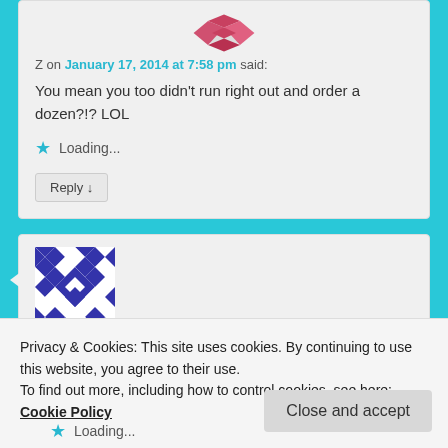[Figure (illustration): Avatar for user Z — pink/red diamond pattern]
Z on January 17, 2014 at 7:58 pm said:
You mean you too didn't run right out and order a dozen?!? LOL
Loading...
Reply ↓
[Figure (illustration): Avatar for Paul Gill — blue and white quilt/diamond geometric pattern]
Paul Gill on January 17, 2014 at 11:13 pm said:
Loading...
Privacy & Cookies: This site uses cookies. By continuing to use this website, you agree to their use.
To find out more, including how to control cookies, see here: Cookie Policy
Close and accept